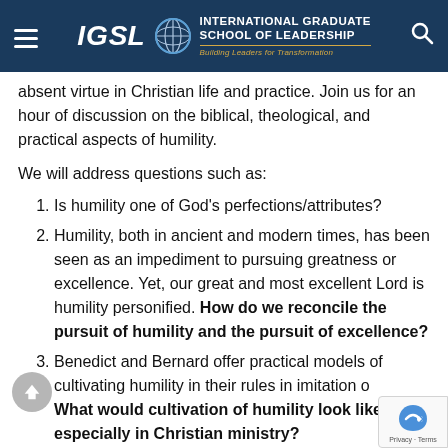International Graduate School of Leadership — Building Leaders for Transformation
absent virtue in Christian life and practice. Join us for an hour of discussion on the biblical, theological, and practical aspects of humility.
We will address questions such as:
Is humility one of God's perfections/attributes?
Humility, both in ancient and modern times, has been seen as an impediment to pursuing greatness or excellence. Yet, our great and most excellent Lord is humility personified. How do we reconcile the pursuit of humility and the pursuit of excellence?
Benedict and Bernard offer practical models of cultivating humility in their rules in imitation o... What would cultivation of humility look like to... especially in Christian ministry?